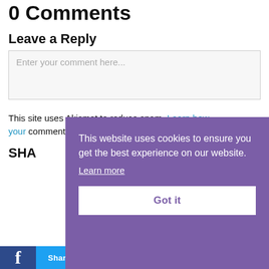0 Comments
Leave a Reply
Enter your comment here...
This site uses Akismet to reduce spam. Learn how your comment data is processed.
SHA
[Figure (screenshot): Cookie consent overlay with purple background. Text: 'This website uses cookies to ensure you get the best experience on our website.' with a 'Learn more' link and a 'Got it' button.]
Share  Share  Share  Share  Share  Share